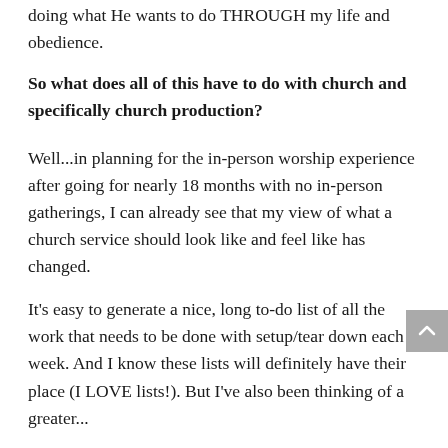It's God who is accomplishing all of the work, doing what He wants to do THROUGH my life and obedience.
So what does all of this have to do with church and specifically church production?
Well...in planning for the in-person worship experience after going for nearly 18 months with no in-person gatherings, I can already see that my view of what a church service should look like and feel like has changed.
It's easy to generate a nice, long to-do list of all the work that needs to be done with setup/tear down each week. And I know these lists will definitely have their place (I LOVE lists!). But I've also been thinking of a greater...